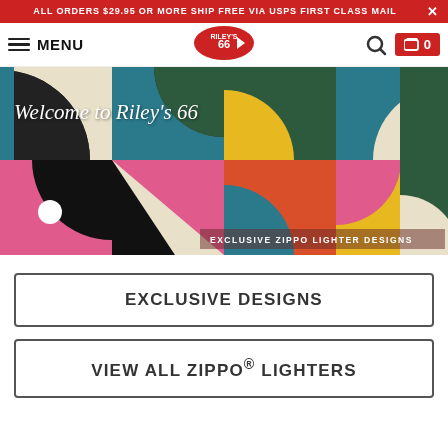ALL ORDERS $29.95 OR MORE SHIP FREE VIA USPS FIRST CLASS MAIL
MENU | Riley's 66 logo | search | cart 0
[Figure (illustration): Hero banner with colorful geometric abstract shapes in teal, pink, yellow, green, dark navy. Text overlay: 'Welcome to Riley's 66' in cursive white top-left. Text overlay bottom-right: 'EXCLUSIVE ZIPPO LIGHTER DESIGNS']
EXCLUSIVE DESIGNS
VIEW ALL ZIPPO® LIGHTERS